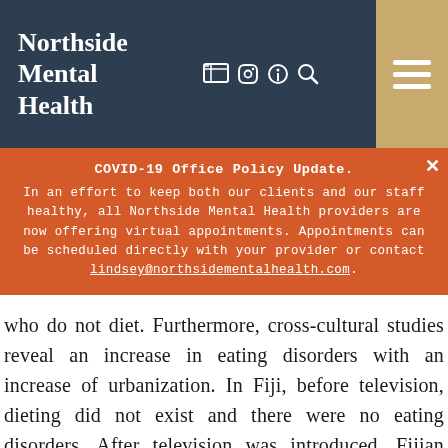Northside Mental Health
COVID-19 Office Policy Update. In an effort to keep both our clients and our staff healthy, all Northside Mental Health providers are now offering virtual appointments. Appointments can be scheduled directly with your provider or contact lindsey@northsidementalhealth.com.
who do not diet. Furthermore, cross-cultural studies reveal an increase in eating disorders with an increase of urbanization. In Fiji, before television, dieting did not exist and there were no eating disorders. After television was introduced, Fijian women were for the first-time dieting, reportedly, as a way to “gain status”. Within 3 years 11% of these women reported vomiting in order to lose weight. “Without our cultural preoccupation with dieting, there would